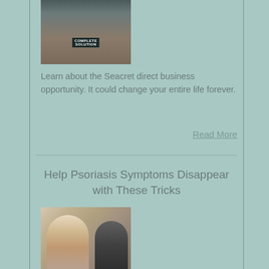[Figure (photo): Photo of a person standing in front of a display booth with products and a banner reading COMPLETE SOLUTION]
Learn about the Seacret direct business opportunity. It could change your entire life forever.
Read More
Help Psoriasis Symptoms Disappear with These Tricks
[Figure (photo): Photo of a woman and another person, health-related topic about psoriasis]